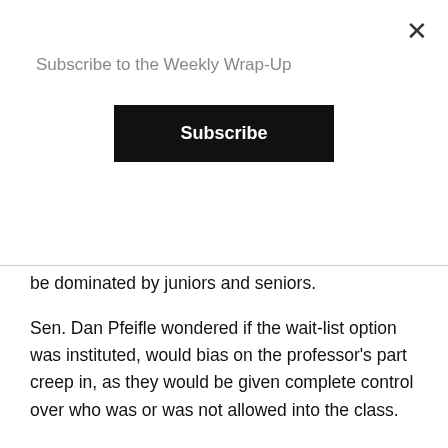[Figure (screenshot): Modal popup overlay with 'Subscribe to the Weekly Wrap-Up' label, a black Subscribe button, and an X close button in the top right corner.]
be dominated by juniors and seniors.
Sen. Dan Pfeifle wondered if the wait-list option was instituted, would bias on the professor's part creep in, as they would be given complete control over who was or was not allowed into the class.
Faculty Senate approved the electronic, wait-list option while Student Senate ultimately voted in favor of the electronic, by-credit option.
Continuing from last week regarding the changes to the Board of Student Communications, Senate passed two motions to finalize those changes.